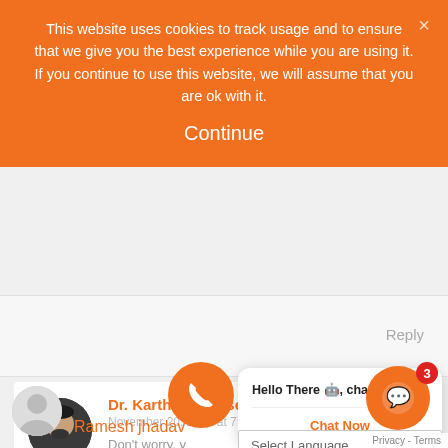This website uses cookies to track usage and to ensure that we give you the best experience while you are using it. If you continue to use this website, we will assume that you are ok with it.
Continue
Reply
Dr. Karthik Gunasekaran
November 20, 2021 at 7:58 am
Don't worry, y
Hello There 🤖, chat with us!
Chat Now
Select Language
Ramesh jhadav
Privacy - Terms